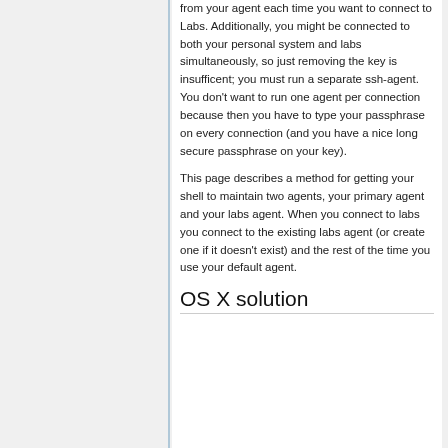from your agent each time you want to connect to Labs. Additionally, you might be connected to both your personal system and labs simultaneously, so just removing the key is insufficent; you must run a separate ssh-agent. You don't want to run one agent per connection because then you have to type your passphrase on every connection (and you have a nice long secure passphrase on your key).
This page describes a method for getting your shell to maintain two agents, your primary agent and your labs agent. When you connect to labs you connect to the existing labs agent (or create one if it doesn't exist) and the rest of the time you use your default agent.
OS X solution